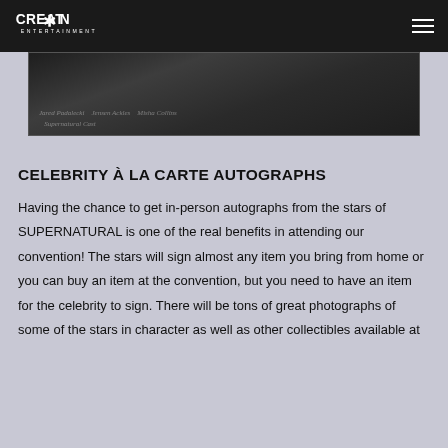CREATION ENTERTAINMENT
[Figure (photo): Cropped dark photograph strip showing signatures/autographs on a dark background]
CELEBRITY À LA CARTE AUTOGRAPHS
Having the chance to get in-person autographs from the stars of SUPERNATURAL is one of the real benefits in attending our convention! The stars will sign almost any item you bring from home or you can buy an item at the convention, but you need to have an item for the celebrity to sign. There will be tons of great photographs of some of the stars in character as well as other collectibles available at